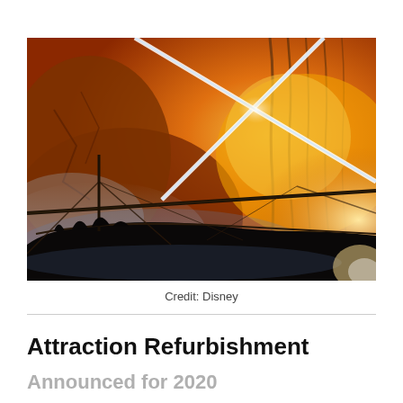[Figure (photo): A dramatic scene from a Disney theme park attraction showing a large boat or ship silhouetted in dark tones against a fiery orange and yellow background with glowing laser-like beams of light crossing overhead and flames or explosions in the background.]
Credit: Disney
Attraction Refurbishment
Announced for 2020